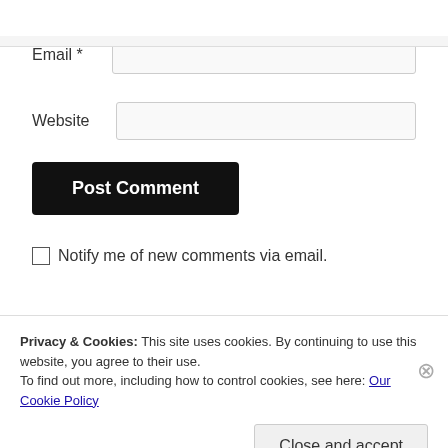Email *
Website
Post Comment
Notify me of new comments via email.
Privacy & Cookies: This site uses cookies. By continuing to use this website, you agree to their use. To find out more, including how to control cookies, see here: Our Cookie Policy
Close and accept